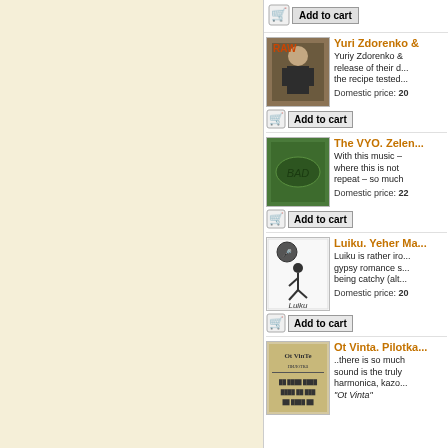[Figure (other): Add to cart button row at top]
[Figure (photo): Yuri Zdorenko album cover - man playing instrument]
Yuri Zdorenko & ...
Yuriy Zdorenko & ... release of their d... the recipe tested...
Domestic price: 20
[Figure (other): Add to cart button]
[Figure (photo): The VYO album cover - green with BAD text]
The VYO. Zelen...
With this music – where this is not repeat – so much
Domestic price: 22
[Figure (other): Add to cart button]
[Figure (photo): Luiku album cover - person dancing]
Luiku. Yeher Ma...
Luiku is rather iro... gypsy romance s... being catchy (alt...
Domestic price: 20
[Figure (other): Add to cart button]
[Figure (photo): Ot Vinta. Pilotka album cover - newspaper style]
Ot Vinta. Pilotka...
..there is so much sound is the truly harmonica, kazo... "Ot Vinta"